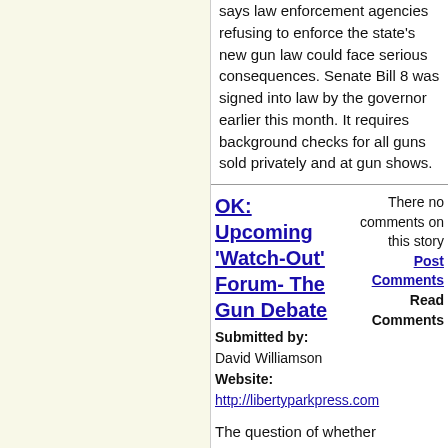says law enforcement agencies refusing to enforce the state's new gun law could face serious consequences. Senate Bill 8 was signed into law by the governor earlier this month. It requires background checks for all guns sold privately and at gun shows.
OK: Upcoming 'Watch-Out' Forum- The Gun Debate
There are no comments on this story
Post Comments
Read Comments
Submitted by: David Williamson
Website: http://libertyparkpress.com
The question of whether additional gun rights or gun controls are needed in Oklahoma and the nation will be the topic at a public forum in Oklahoma City on April 23. The free forum, entitled “The Gun Debate,” is being sponsored by Oklahoma Watch and will be held from 6 p.m. to 7 p.m. at the Oklahoma History Center, 800 Nazih Zuhdi Dr., just northeast of the